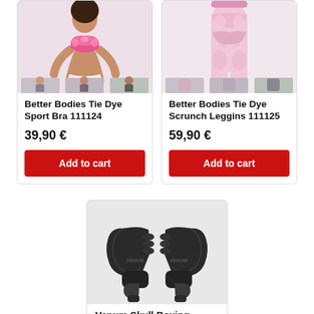[Figure (photo): Better Bodies Tie Dye Sport Bra product image showing a woman in pink tie dye sports bra with thumbnail variants below]
Better Bodies Tie Dye Sport Bra 111124
39,90 €
Add to cart
[Figure (photo): Better Bodies Tie Dye Scrunch Leggins product image showing pink tie dye leggings with thumbnail variants below]
Better Bodies Tie Dye Scrunch Leggins 111125
59,90 €
Add to cart
[Figure (photo): Venum Skull Boxing Gloves in Black-Black color, showing a pair of black boxing gloves with smaller gloves]
Venum Skull Boxing Gloves, Black-Black